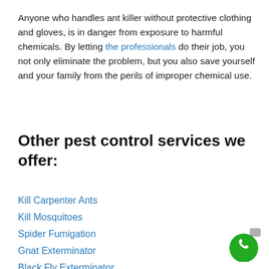Anyone who handles ant killer without protective clothing and gloves, is in danger from exposure to harmful chemicals. By letting the professionals do their job, you not only eliminate the problem, but you also save yourself and your family from the perils of improper chemical use.
Other pest control services we offer:
Kill Carpenter Ants
Kill Mosquitoes
Spider Fumigation
Gnat Exterminator
Black Fly Exterminator